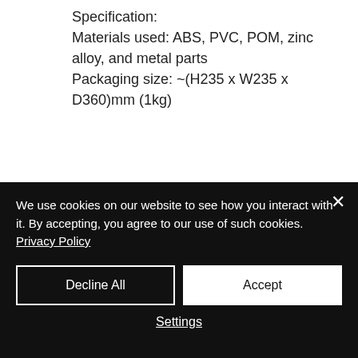Specification:
Materials used: ABS, PVC, POM, zinc alloy, and metal parts
Packaging size: ~(H235 x W235 x D360)mm (1kg)
PAYMENT INFO
To order this product, can pay Deposit / Full price to confirm the order. Kindly Whatsapp +6016-7062203 to complete
We use cookies on our website to see how you interact with it. By accepting, you agree to our use of such cookies. Privacy Policy
Decline All
Accept
Settings